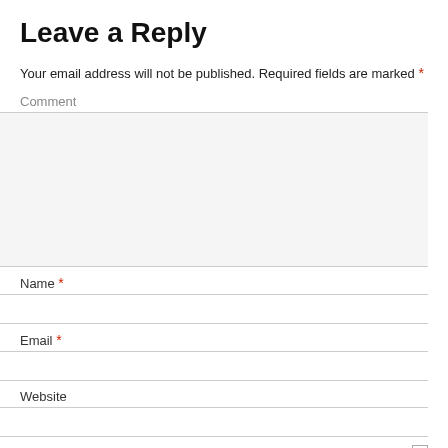Leave a Reply
Your email address will not be published. Required fields are marked *
Comment
Name *
Email *
Website
Save my name, email, and website in this browser for the next time I comment.